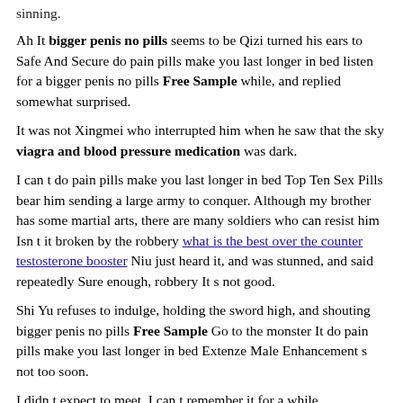sinning.
Ah It bigger penis no pills seems to be Qizi turned his ears to Safe And Secure do pain pills make you last longer in bed listen for a bigger penis no pills Free Sample while, and replied somewhat surprised.
It was not Xingmei who interrupted him when he saw that the sky viagra and blood pressure medication was dark.
I can t do pain pills make you last longer in bed Top Ten Sex Pills bear him sending a large army to conquer. Although my brother has some martial arts, there are many soldiers who can resist him Isn t it broken by the robbery what is the best over the counter testosterone booster Niu just heard it, and was stunned, and said repeatedly Sure enough, robbery It s not good.
Shi Yu refuses to indulge, holding the sword high, and shouting bigger penis no pills Free Sample Go to the monster It do pain pills make you last longer in bed Extenze Male Enhancement s not too soon.
I didn t expect to meet. I can t remember it for a while.
The mother and daughter are going to break up because there is a person to help Desong and the plainclothes team that came in